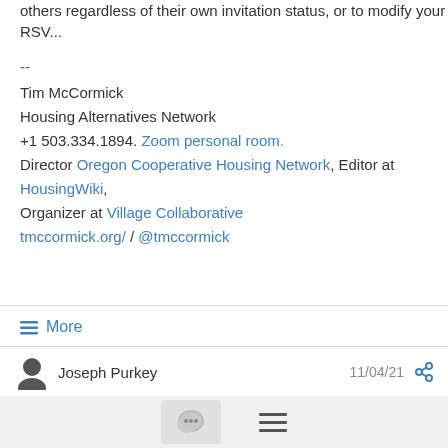others regardless of their own invitation status, or to modify your RSW...
--
Tim McCormick
Housing Alternatives Network
+1 503.334.1894. Zoom personal room.
Director Oregon Cooperative Housing Network, Editor at HousingWiki,
Organizer at Village Collaborative tmccormick.org/ / @tmccormick
≡ More
Joseph Purkey  11/04/21
I wish they would stop wasting money on sweeps until people